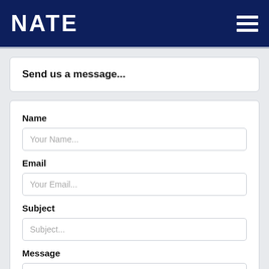NATE
Send us a message...
Name
Your Name...
Email
Your Email...
Subject
Subject...
Message
Message...